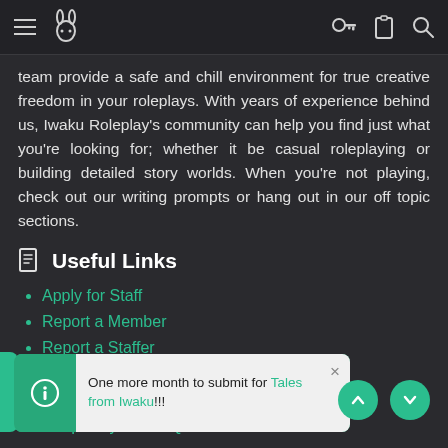Navigation bar with hamburger menu, logo, key icon, clipboard icon, search icon
team provide a safe and chill environment for true creative freedom in your roleplays. With years of experience behind us, Iwaku Roleplay's community can help you find just what you're looking for; whether it be casual roleplaying or building detailed story worlds. When you're not playing, check out our writing prompts or hang out in our off topic sections.
Useful Links
Apply for Staff
Report a Member
Report a Staffer
Moderation Requests
Get Verified
Frequently Asked Questions
One more month to submit for Tales from Iwaku!!!